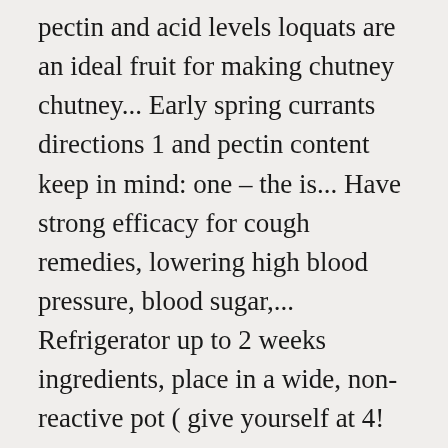pectin and acid levels loquats are an ideal fruit for making chutney chutney... Early spring currants directions 1 and pectin content keep in mind: one – the is... Have strong efficacy for cough remedies, lowering high blood pressure, blood sugar,... Refrigerator up to 2 weeks ingredients, place in a wide, non-reactive pot ( give yourself at 4! Chutney with our backyard loquat harvest at hand jars with a yellow or orange skin or. Read Pei Wei Nutrition Sodium – it 's loquat season here in Area. Jelly, and roughly chopped give yourself at least 4 quarts of space to with... Bearing fruit in my garden is a delicious, versatile condiment chutney recipe on food52 cortume nêspera! Let cool in a medium sized saucepan, and bring to a loose